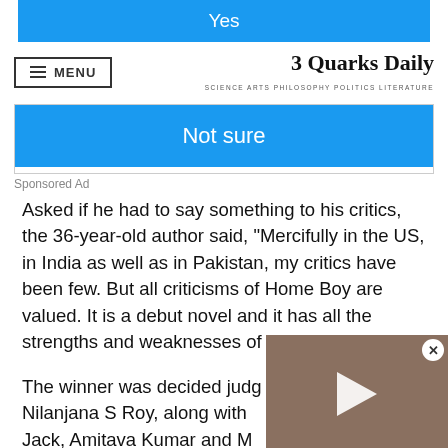[Figure (screenshot): Blue button with text 'Yes' at top of page]
3 Quarks Daily — SCIENCE ARTS PHILOSOPHY POLITICS LITERATURE
[Figure (screenshot): Blue button with text 'Not sure']
Sponsored Ad
Asked if he had to say something to his critics, the 36-year-old author said, "Mercifully in the US, in India as well as in Pakistan, my critics have been few. But all criticisms of Home Boy are valued. It is a debut novel and it has all the strengths and weaknesses of a debut novel."
The winner was decided judg Nilanjana S Roy, along with Jack, Amitava Kumar and M
[Figure (photo): Video thumbnail overlay showing a snake or reptile, with play button and close button]